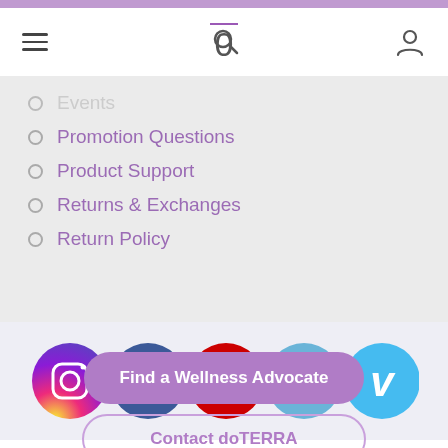doTERRA navigation header with menu, search, logo, and account icons
Events (partially visible)
Promotion Questions
Product Support
Returns & Exchanges
Return Policy
[Figure (infographic): Social media icons row: Instagram (gradient circle), Facebook (dark blue circle), YouTube (red circle), Twitter (light blue circle), Vimeo (light blue circle)]
Find a Wellness Advocate
Contact doTERRA